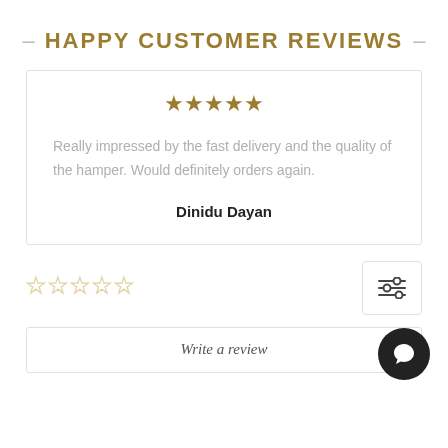— HAPPY CUSTOMER REVIEWS —
[Figure (other): Five filled gold stars rating]
Really impressed by the fast delivery and the quality of the hamper. Would definitely orders again.
Dinidu Dayan
[Figure (other): Five empty/outline gold stars rating]
[Figure (other): Chat bubble icon button (dark circle)]
[Figure (other): Filter/sliders icon button]
Write a review